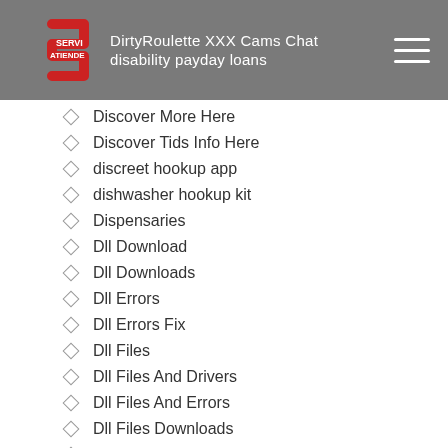DirtyRoulette XXX Cams Chat | disability payday loans
Discover More Here
Discover Tids Info Here
discreet hookup app
dishwasher hookup kit
Dispensaries
Dll Download
Dll Downloads
Dll Errors
Dll Errors Fix
Dll Files
Dll Files And Drivers
Dll Files And Errors
Dll Files Downloads
Dll Files For Windows
Dll Library
Dll System Files